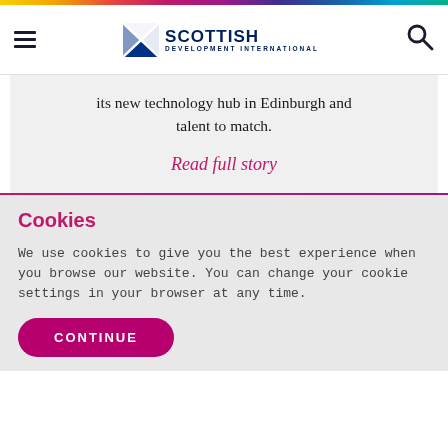Scottish Development International
its new technology hub in Edinburgh and talent to match.
Read full story
Cookies
We use cookies to give you the best experience when you browse our website. You can change your cookie settings in your browser at any time.
CONTINUE